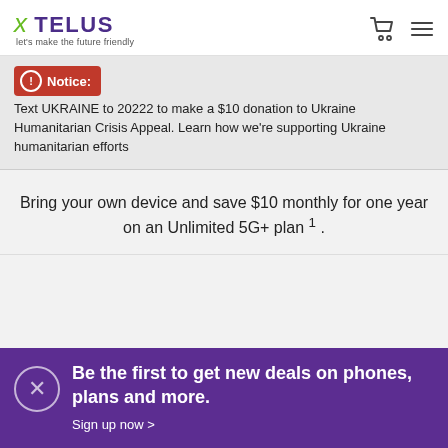TELUS — let's make the future friendly
Notice: Text UKRAINE to 20222 to make a $10 donation to Ukraine Humanitarian Crisis Appeal. Learn how we're supporting Ukraine humanitarian efforts
Bring your own device and save $10 monthly for one year on an Unlimited 5G+ plan 1 .
[Figure (illustration): Purple/pink butterfly illustration at bottom of hero section]
Be the first to get new deals on phones, plans and more. Sign up now >